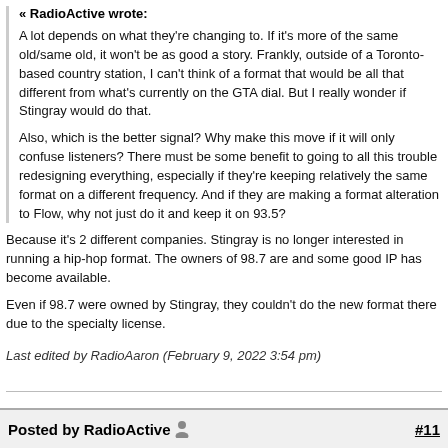« RadioActive wrote:
A lot depends on what they're changing to. If it's more of the same old/same old, it won't be as good a story. Frankly, outside of a Toronto-based country station, I can't think of a format that would be all that different from what's currently on the GTA dial. But I really wonder if Stingray would do that.

Also, which is the better signal? Why make this move if it will only confuse listeners? There must be some benefit to going to all this trouble redesigning everything, especially if they're keeping relatively the same format on a different frequency. And if they are making a format alteration to Flow, why not just do it and keep it on 93.5?
Because it's 2 different companies. Stingray is no longer interested in running a hip-hop format. The owners of 98.7 are and some good IP has become available.
Even if 98.7 were owned by Stingray, they couldn't do the new format there due to the specialty license.
Last edited by RadioAaron (February 9, 2022 3:54 pm)
Posted by RadioActive  #11